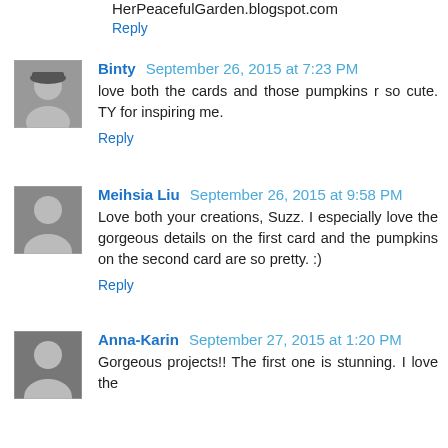HerPeacefulGarden.blogspot.com
Reply
[Figure (photo): Avatar photo of Binty]
Binty September 26, 2015 at 7:23 PM
love both the cards and those pumpkins r so cute. TY for inspiring me.
Reply
[Figure (photo): Avatar photo of Meihsia Liu]
Meihsia Liu September 26, 2015 at 9:58 PM
Love both your creations, Suzz. I especially love the gorgeous details on the first card and the pumpkins on the second card are so pretty. :)
Reply
[Figure (photo): Avatar photo of Anna-Karin]
Anna-Karin September 27, 2015 at 1:20 PM
Gorgeous projects!! The first one is stunning. I love the